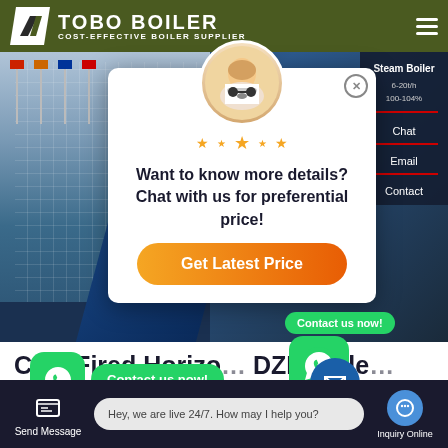TOBO BOILER - COST-EFFECTIVE BOILER SUPPLIER
[Figure (screenshot): Website screenshot showing a boiler supplier page with a chat popup overlay, hero background image of a building with flags, and WhatsApp contact buttons]
Want to know more details? Chat with us for preferential price!
Get Latest Price
Coal Fired Horizontal DZL Boiler
Contact us now!
Hey, we are live 24/7. How may I help you?
Send Message
Inquiry Online